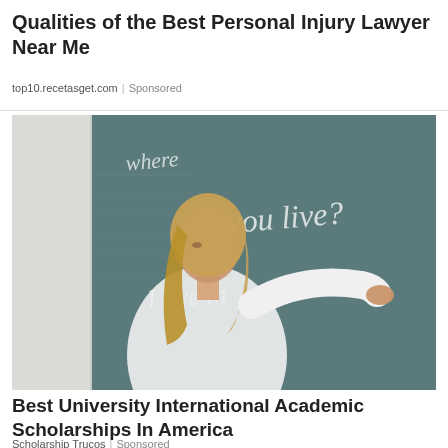Qualities of the Best Personal Injury Lawyer Near Me
top10.recetasget.com | Sponsored
[Figure (photo): A woman with long blonde hair wearing a white shirt writing on a chalkboard. The chalkboard has cursive text reading 'where do you live' and 'I live in'.]
Best University International Academic Scholarships In America
Scholarship Trucos | Sponsored